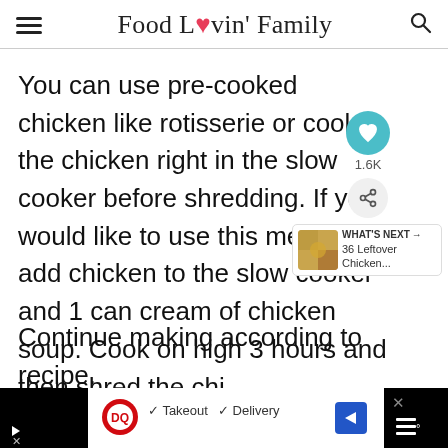Food Lovin' Family
You can use pre-cooked chicken like rotisserie or cook the chicken right in the slow cooker before shredding. If you would like to use this method, add chicken to the slow cooker and 1 can cream of chicken soup. Cook on high 3 hours and then shred the chicken. Continue making according to recipe.